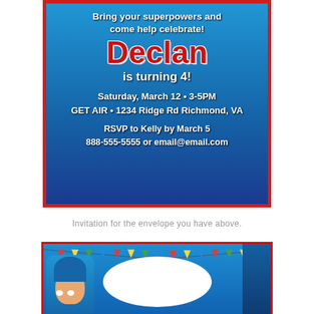[Figure (illustration): PJ Masks birthday party invitation card with blue gradient background and red border. Text reads: Bring your superpowers and come help celebrate! Declan is turning 4! Saturday, March 12 • 3-5PM, GET AIR • 1234 Ridge Rd Richmond, VA, RSVP to Kelly by March 5, 888-555-5555 or email@email.com]
Invitation for the envelope you have above.
[Figure (illustration): PJ Masks envelope design with blue background, colorful bunting flags, and Catboy character on the left side with a white oval space in the center for addressing.]